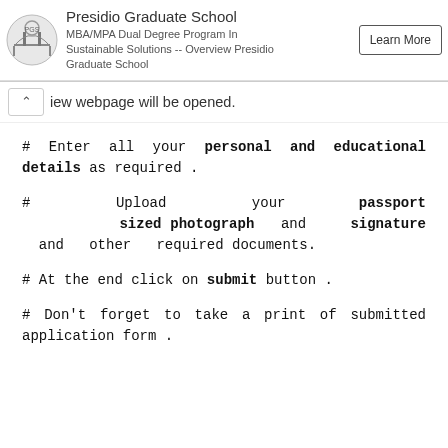[Figure (other): Presidio Graduate School advertisement banner with logo, text, and Learn More button]
iew webpage will be opened.
# Enter all your personal and educational details as required .
# Upload your passport sized photograph and signature and other required documents.
# At the end click on submit button .
# Don't forget to take a print of submitted application form .